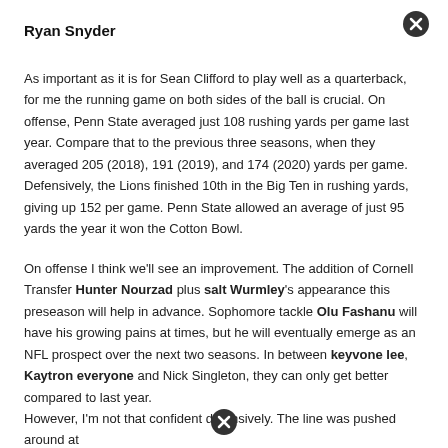Ryan Snyder
As important as it is for Sean Clifford to play well as a quarterback, for me the running game on both sides of the ball is crucial. On offense, Penn State averaged just 108 rushing yards per game last year. Compare that to the previous three seasons, when they averaged 205 (2018), 191 (2019), and 174 (2020) yards per game. Defensively, the Lions finished 10th in the Big Ten in rushing yards, giving up 152 per game. Penn State allowed an average of just 95 yards the year it won the Cotton Bowl.
On offense I think we'll see an improvement. The addition of Cornell Transfer Hunter Nourzad plus salt Wurmley's appearance this preseason will help in advance. Sophomore tackle Olu Fashanu will have his growing pains at times, but he will eventually emerge as an NFL prospect over the next two seasons. In between keyvone lee, Kaytron everyone and Nick Singleton, they can only get better compared to last year.
However, I'm not that confident defensively. The line was pushed around at